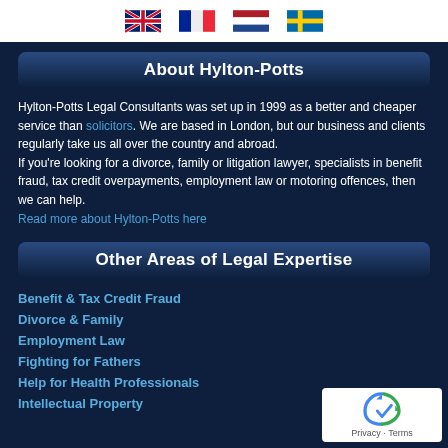[Figure (illustration): Four country flag icons: UK, France, Netherlands, Sweden in a white top bar]
About Hylton-Potts
Hylton-Potts Legal Consultants was set up in 1999 as a better and cheaper service than solicitors. We are based in London, but our business and clients regularly take us all over the country and abroad.
If you're looking for a divorce, family or litigation lawyer, specialists in benefit fraud, tax credit overpayments, employment law or motoring offences, then we can help.
Read more about Hylton-Potts here
Other Areas of Legal Expertise
Benefit & Tax Credit Fraud
Divorce & Family
Employment Law
Fighting for Fathers
Help for Health Professionals
Intellectual Property